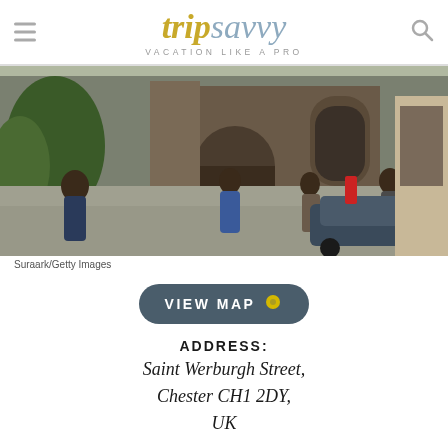tripsavvy VACATION LIKE A PRO
[Figure (photo): Street view of a Gothic cathedral (Chester Cathedral) on Saint Werburgh Street with pedestrians and a parked car in the foreground]
Suraark/Getty Images
VIEW MAP
ADDRESS: Saint Werburgh Street, Chester CH1 2DY, UK
PHONE: +44 1244 324756